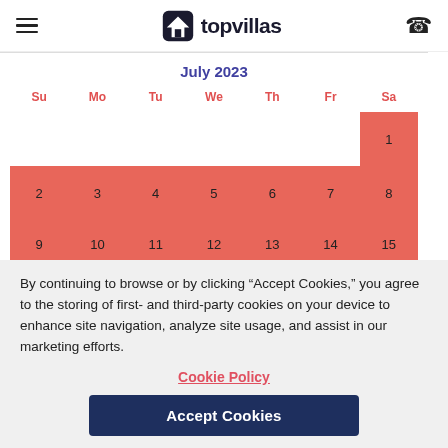topvillas
[Figure (screenshot): July 2023 calendar with dates 1, 2–8 highlighted in red/salmon background. Day headers: Su, Mo, Tu, We, Th, Fr, Sa. Partial row starting 9,10,11,12,13,14,15 visible at bottom.]
By continuing to browse or by clicking “Accept Cookies,” you agree to the storing of first- and third-party cookies on your device to enhance site navigation, analyze site usage, and assist in our marketing efforts.
Cookie Policy
Accept Cookies